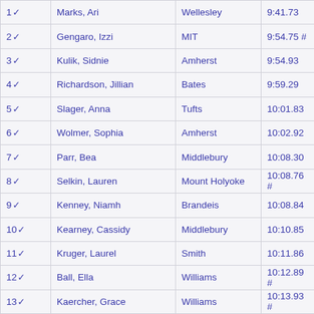| Rank | Name | School | Time |
| --- | --- | --- | --- |
| 1 ✓ | Marks, Ari | Wellesley | 9:41.73 |
| 2 ✓ | Gengaro, Izzi | MIT | 9:54.75 # |
| 3 ✓ | Kulik, Sidnie | Amherst | 9:54.93 |
| 4 ✓ | Richardson, Jillian | Bates | 9:59.29 |
| 5 ✓ | Slager, Anna | Tufts | 10:01.83 |
| 6 ✓ | Wolmer, Sophia | Amherst | 10:02.92 |
| 7 ✓ | Parr, Bea | Middlebury | 10:08.30 |
| 8 ✓ | Selkin, Lauren | Mount Holyoke | 10:08.76 # |
| 9 ✓ | Kenney, Niamh | Brandeis | 10:08.84 |
| 10 ✓ | Kearney, Cassidy | Middlebury | 10:10.85 |
| 11 ✓ | Kruger, Laurel | Smith | 10:11.86 |
| 12 ✓ | Ball, Ella | Williams | 10:12.89 # |
| 13 ✓ | Kaercher, Grace | Williams | 10:13.93 # |